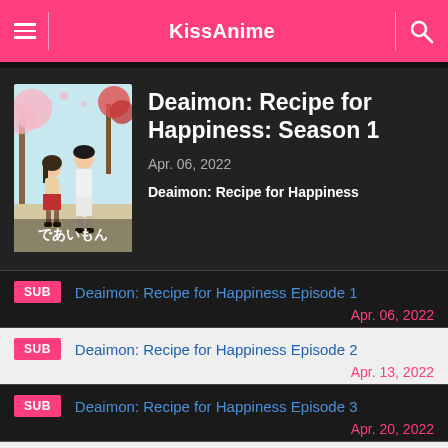KissAnime
[Figure (illustration): Anime poster for Deaimon: Recipe for Happiness showing two characters (a girl in red skirt and a taller figure in white) with Japanese text and cherry blossom trees]
Deaimon: Recipe for Happiness: Season 1
Apr. 06, 2022
Deaimon: Recipe for Happiness
SUB  Deaimon: Recipe for Happiness Episode 1  Apr. 06, 2022
SUB  Deaimon: Recipe for Happiness Episode 2  Apr. 13, 2022
SUB  Deaimon: Recipe for Happiness Episode 3  Apr. 20, 2022